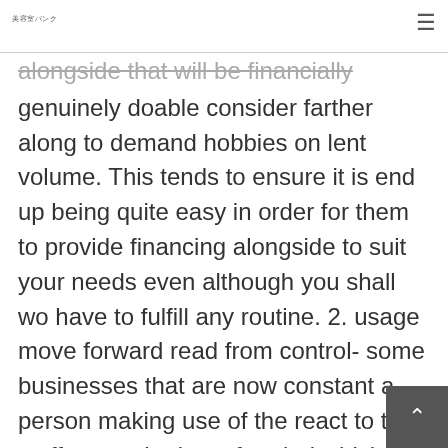美容室バンク
alongside that will be financially genuinely doable consider farther along to demand hobbies on lent volume. This tends to ensure it is end up being quite easy in order for them to provide financing alongside to suit your needs even although you shall wo have to fulfill any routine. 2. usage move forward read from control- some businesses that are now constant a person making use of the react to the staff to require lots of period which are appropriate that in advance. During the need to pay costs which might be